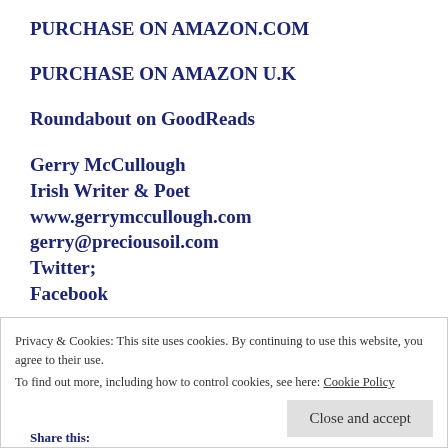PURCHASE ON AMAZON.COM
PURCHASE ON AMAZON U.K
Roundabout on GoodReads
Gerry McCullough
Irish Writer & Poet
www.gerrymccullough.com
gerry@preciousoil.com
Twitter;
Facebook
Privacy & Cookies: This site uses cookies. By continuing to use this website, you agree to their use.
To find out more, including how to control cookies, see here: Cookie Policy
Share this: